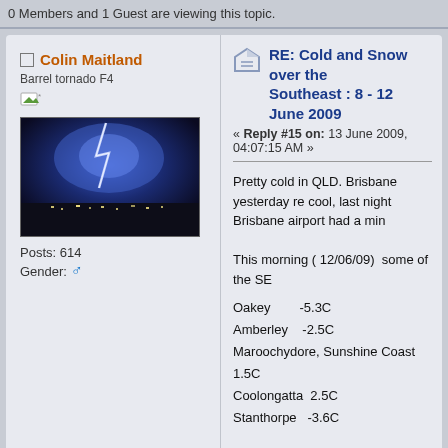0 Members and 1 Guest are viewing this topic.
Colin Maitland
Barrel tornado F4
[Figure (photo): Avatar photo showing a dark stormy sky with blue/purple lightning and city lights at bottom]
Posts: 614
Gender: (male symbol)
RE: Cold and Snow over the Southeast : 8 - 12 June 2009
« Reply #15 on: 13 June 2009, 04:07:15 AM »
Pretty cold in QLD. Brisbane yesterday re cool, last night Brisbane airport had a min
This morning ( 12/06/09) some of the SE
Oakey        -5.3C
Amberley     -2.5C
Maroochydore, Sunshine Coast  1.5C
Coolongatta  2.5C
Stanthorpe   -3.6C
Looks like more snow for the Alps on Mon
happy snow hunting,
Col
Peter J
RE: Cold and Snow over the